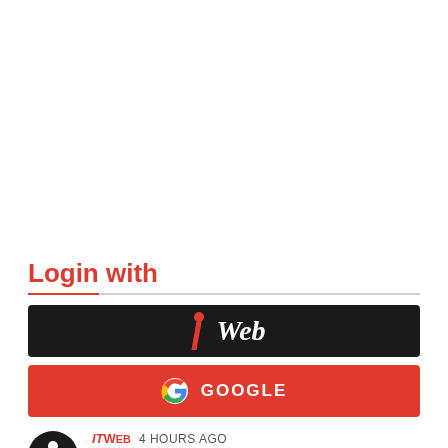Login with
[Figure (logo): iTWeb login button - black background with iTWeb logo in white and red]
[Figure (logo): Google login button - red background with Google G icon and GOOGLE text in white]
ITWeb 4 HOURS AGO
Be the first to comment